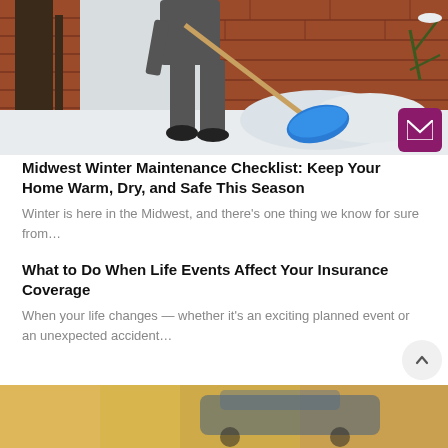[Figure (photo): Person shoveling snow outside a brick building in winter, using a blue snow shovel]
Midwest Winter Maintenance Checklist: Keep Your Home Warm, Dry, and Safe This Season
Winter is here in the Midwest, and there’s one thing we know for sure from…
What to Do When Life Events Affect Your Insurance Coverage
When your life changes — whether it’s an exciting planned event or an unexpected accident…
[Figure (photo): Partial view of a car scene with blurred colorful background, bottom of page]